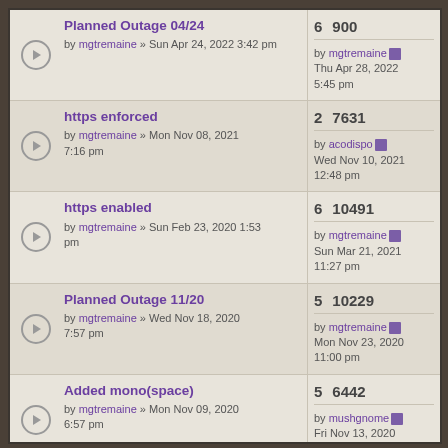Planned Outage 04/24 by mgtremaine » Sun Apr 24, 2022 3:42 pm | 6 replies 900 views | by mgtremaine Thu Apr 28, 2022 5:45 pm
https enforced by mgtremaine » Mon Nov 08, 2021 7:16 pm | 2 replies 7631 views | by acodispo Wed Nov 10, 2021 12:48 pm
https enabled by mgtremaine » Sun Feb 23, 2020 1:53 pm | 6 replies 10491 views | by mgtremaine Sun Mar 21, 2021 11:27 pm
Planned Outage 11/20 by mgtremaine » Wed Nov 18, 2020 7:57 pm | 5 replies 10229 views | by mgtremaine Mon Nov 23, 2020 11:00 pm
Added mono(space) by mgtremaine » Mon Nov 09, 2020 6:57 pm | 5 replies 6442 views | by mushgnome Fri Nov 13, 2020 10:15 pm
Spoiler code? by mgtremaine » Sun ... 2 replies 26895 views